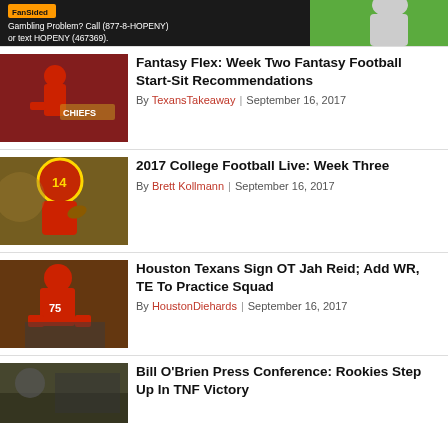[Figure (photo): Green and black gambling advertisement banner with text about problem gambling helpline]
Gambling Problem? Call (877-8-HOPENY) or text HOPENY (467369).
[Figure (photo): NFL football player in red Kansas City Chiefs uniform running with the ball]
Fantasy Flex: Week Two Fantasy Football Start-Sit Recommendations
By TexansTakeaway | September 16, 2017
[Figure (photo): USC Trojans college football quarterback #14 in red and gold uniform holding a football]
2017 College Football Live: Week Three
By Brett Kollmann | September 16, 2017
[Figure (photo): Houston Texans offensive lineman #75 in red uniform in three-point stance]
Houston Texans Sign OT Jah Reid; Add WR, TE To Practice Squad
By HoustonDiehards | September 16, 2017
[Figure (photo): Football player at stadium, partial view]
Bill O'Brien Press Conference: Rookies Step Up In TNF Victory